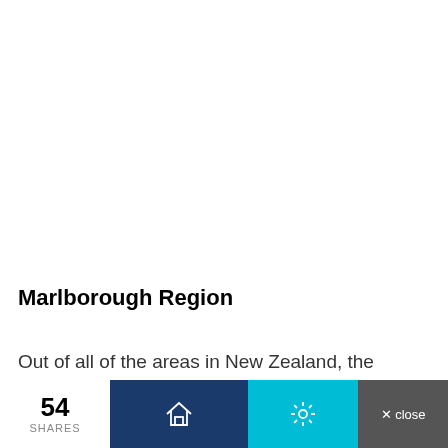[Figure (other): White blank area at the top of the page, representing an image placeholder or empty content area]
Marlborough Region
Out of all of the areas in New Zealand, the Marlborough region is that the most suitable option if
54 SHARES  [home icon]  [settings icon]  × close